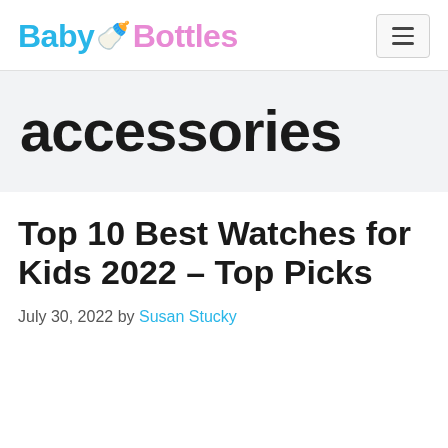Baby Bottles
accessories
Top 10 Best Watches for Kids 2022 – Top Picks
July 30, 2022 by Susan Stucky